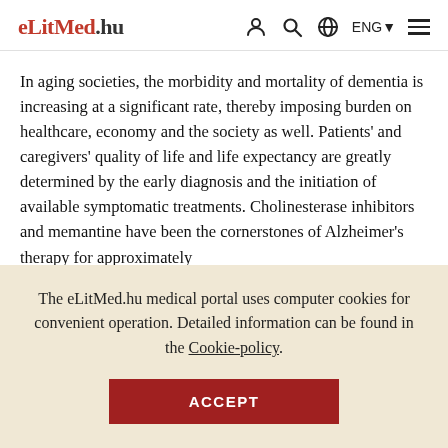eLitMed.hu — navigation header with user icon, search, globe/ENG language selector, and hamburger menu
In aging societies, the morbidity and mortality of dementia is increasing at a significant rate, thereby imposing burden on healthcare, economy and the society as well. Patients' and caregivers' quality of life and life expectancy are greatly determined by the early diagnosis and the initiation of available symptomatic treatments. Cholinesterase inhibitors and memantine have been the cornerstones of Alzheimer's therapy for approximately
The eLitMed.hu medical portal uses computer cookies for convenient operation. Detailed information can be found in the Cookie-policy.
ACCEPT